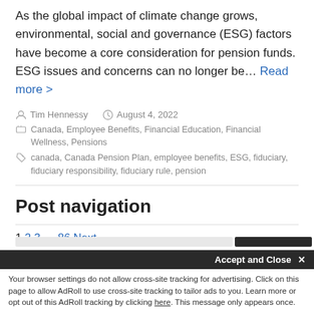As the global impact of climate change grows, environmental, social and governance (ESG) factors have become a core consideration for pension funds. ESG issues and concerns can no longer be… Read more >
Tim Hennessy   August 4, 2022
Canada, Employee Benefits, Financial Education, Financial Wellness, Pensions
canada, Canada Pension Plan, employee benefits, ESG, fiduciary, fiduciary responsibility, fiduciary rule, pension
Post navigation
1 2 3 … 86 Next →
Accept and Close ✕
Your browser settings do not allow cross-site tracking for advertising. Click on this page to allow AdRoll to use cross-site tracking to tailor ads to you. Learn more or opt out of this AdRoll tracking by clicking here. This message only appears once.